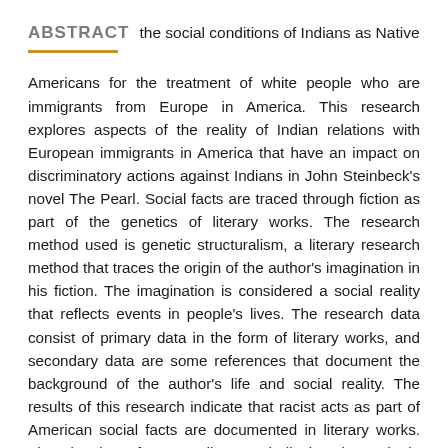ABSTRACT  the social conditions of Indians as Native
Americans for the treatment of white people who are immigrants from Europe in America. This research explores aspects of the reality of Indian relations with European immigrants in America that have an impact on discriminatory actions against Indians in John Steinbeck's novel The Pearl. Social facts are traced through fiction as part of the genetics of literary works. The research method used is genetic structuralism, a literary research method that traces the origin of the author's imagination in his fiction. The imagination is considered a social reality that reflects events in people's lives. The research data consist of primary data in the form of literary works, and secondary data are some references that document the background of the author's life and social reality. The results of this research indicate that racist acts as part of American social facts are documented in literary works. The situation of poor Indians and displaced people in slums is a social fact witnessed by John Steinbeck as the author of the novel The Pearl through an Indian fictional character named Kino. Racism is an act of white sentiment that discriminates against Native Americans, namely the Indian community.